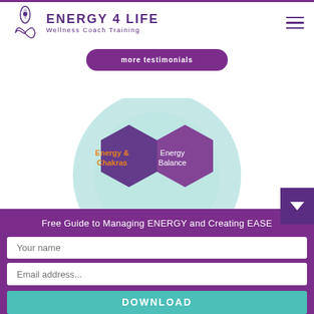ENERGY 4 LIFE — Wellness Coach Training
[Figure (infographic): Two purple hexagons labeled 'Energy & Chakras' (orange text) and 'Energy Balance' (white text) overlapping a teal circular diagram]
Free Guide to Managing ENERGY and Creating EASE
Your name
Email address...
DOWNLOAD